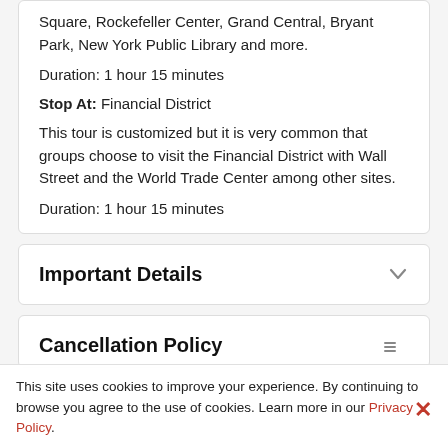Square, Rockefeller Center, Grand Central, Bryant Park, New York Public Library and more.
Duration: 1 hour 15 minutes
Stop At: Financial District
This tour is customized but it is very common that groups choose to visit the Financial District with Wall Street and the World Trade Center among other sites.
Duration: 1 hour 15 minutes
Important Details
Cancellation Policy
This site uses cookies to improve your experience. By continuing to browse you agree to the use of cookies. Learn more in our Privacy Policy.